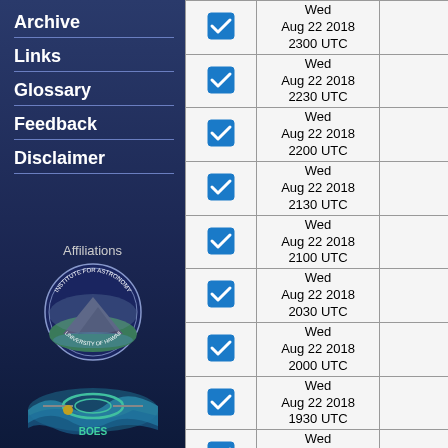Archive
Links
Glossary
Feedback
Disclaimer
Affiliations
[Figure (logo): Institute for Astronomy, University of Hawaii circular seal logo]
[Figure (logo): BOES instrument logo with wave and rings design]
| Select | Date/Time | Data |
| --- | --- | --- |
| ☑ | Wed Aug 22 2018 2300 UTC |  |
| ☑ | Wed Aug 22 2018 2230 UTC |  |
| ☑ | Wed Aug 22 2018 2200 UTC |  |
| ☑ | Wed Aug 22 2018 2130 UTC |  |
| ☑ | Wed Aug 22 2018 2100 UTC |  |
| ☑ | Wed Aug 22 2018 2030 UTC |  |
| ☑ | Wed Aug 22 2018 2000 UTC |  |
| ☑ | Wed Aug 22 2018 1930 UTC |  |
| ☑ | Wed Aug 22 2018 1900 UTC |  |
| ☑ | Wed Aug 22 2018 |  |